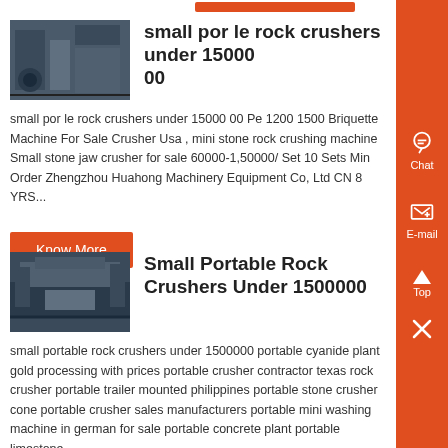small por le rock crushers under 15000 00
small por le rock crushers under 15000 00 Pe 1200 1500 Briquette Machine For Sale Crusher Usa , mini stone rock crushing machine Small stone jaw crusher for sale 60000-1,50000/ Set 10 Sets Min Order Zhengzhou Huahong Machinery Equipment Co, Ltd CN 8 YRS...
Know More
Small Portable Rock Crushers Under 1500000
small portable rock crushers under 1500000 portable cyanide plant gold processing with prices portable crusher contractor texas rock crusher portable trailer mounted philippines portable stone crusher cone portable crusher sales manufacturers portable mini washing machine in german for sale portable concrete plant portable limestone